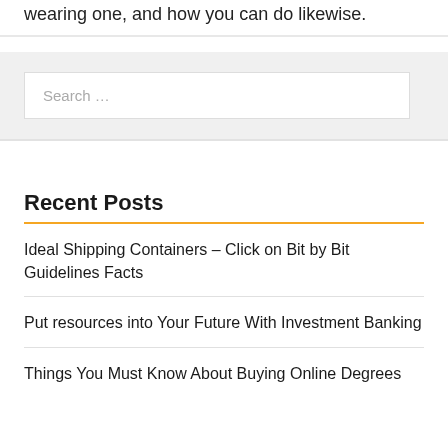wearing one, and how you can do likewise.
Search …
Recent Posts
Ideal Shipping Containers – Click on Bit by Bit Guidelines Facts
Put resources into Your Future With Investment Banking
Things You Must Know About Buying Online Degrees